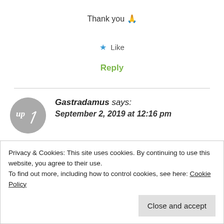Thank you 🙏
★ Like
Reply
Gastradamus says: September 2, 2019 at 12:16 pm
This painting is beautiful, your grandma and is
Privacy & Cookies: This site uses cookies. By continuing to use this website, you agree to their use.
To find out more, including how to control cookies, see here: Cookie Policy
Close and accept